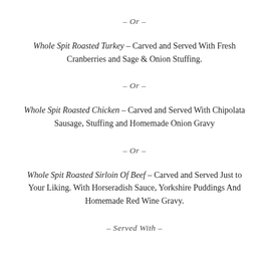– Or –
Whole Spit Roasted Turkey – Carved and Served With Fresh Cranberries and Sage & Onion Stuffing.
– Or –
Whole Spit Roasted Chicken – Carved and Served With Chipolata Sausage, Stuffing and Homemade Onion Gravy
– Or –
Whole Spit Roasted Sirloin Of Beef – Carved and Served Just to Your Liking. With Horseradish Sauce, Yorkshire Puddings And Homemade Red Wine Gravy.
– Served With –